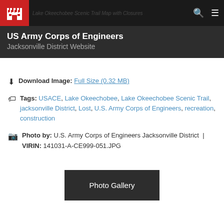US Army Corps of Engineers Jacksonville District Website
Download Image: Full Size (0.32 MB)
Tags: USACE, Lake Okeechobee, Lake Okeechobee Scenic Trail, jacksonville District, Lost, U.S. Army Corps of Engineers, recreation, construction
Photo by: U.S. Army Corps of Engineers Jacksonville District | VIRIN: 141031-A-CE999-051.JPG
Photo Gallery